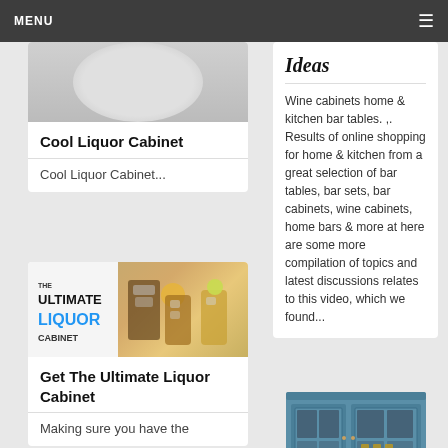MENU
[Figure (photo): Partial image of a liquor cabinet or container, cropped at top]
Cool Liquor Cabinet
Cool Liquor Cabinet...
[Figure (photo): The Ultimate Liquor Cabinet image with drinks]
Get The Ultimate Liquor Cabinet
Making sure you have the
Ideas
Wine cabinets home & kitchen bar tables. ,. Results of online shopping for home & kitchen from a great selection of bar tables, bar sets, bar cabinets, wine cabinets, home bars & more at here are some more compilation of topics and latest discussions relates to this video, which we found...
[Figure (photo): Blue liquor/wine cabinet with glass doors and bottles inside]